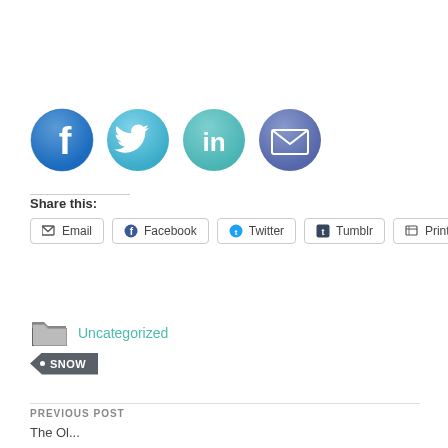[Figure (illustration): Four social media icons in circles: Facebook (blue), Twitter (light blue), LinkedIn (teal), Email (blue-purple envelope)]
Share this:
Email | Facebook | Twitter | Tumblr | Print share buttons
Uncategorized (category link with folder icon)
SNOW (tag)
PREVIOUS POST
The Ol...